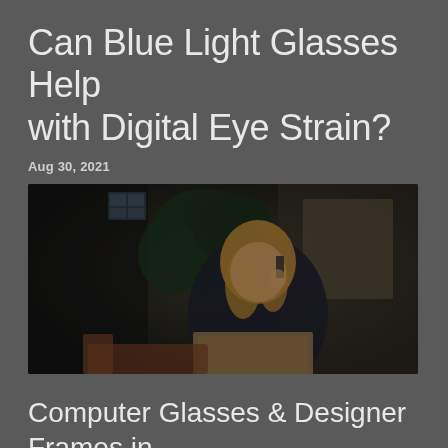Can Blue Light Glasses Help with Digital Eye Strain?
Aug 30, 2021
[Figure (photo): A smiling blonde woman sitting on a couch, talking on a phone with a laptop in front of her, in a dimly lit room with plants in the background.]
Computer Glasses & Designer Frames in Los Alamitos